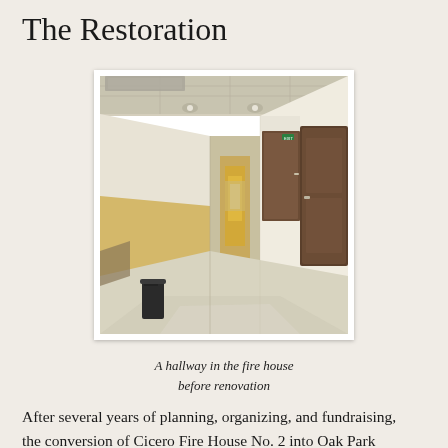The Restoration
[Figure (photo): A hallway in a fire house before renovation. The hallway has white walls, a dropped ceiling with fluorescent lighting, beige/yellow linoleum flooring, brown doors on the right side with a green exit sign, and a black trash can in the foreground. The hallway stretches to a yellowish-lit room in the background.]
A hallway in the fire house before renovation
After several years of planning, organizing, and fundraising, the conversion of Cicero Fire House No. 2 into Oak Park